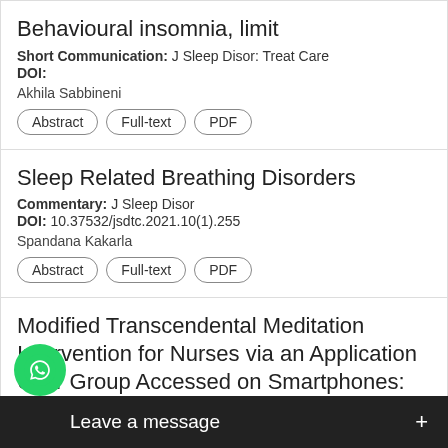Behavioural insomnia, limit
Short Communication: J Sleep Disor: Treat Care
DOI:
Akhila Sabbineni
Sleep Related Breathing Disorders
Commentary: J Sleep Disor
DOI: 10.37532/jsdtc.2021.10(1).255
Spandana Kakarla
Modified Transcendental Meditation Intervention for Nurses via an Application User Group Accessed on Smartphones: Effects of Anxiety Depression on Sleep Quality
t Care 2018, 7:2
DOI:
Ru-W